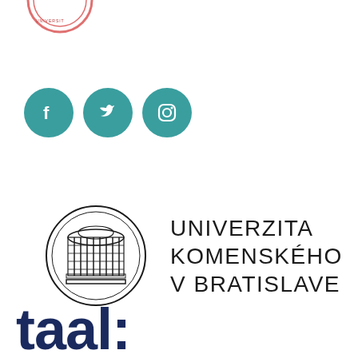[Figure (logo): Partial circular logo/seal at top left, pink/red outline, partially cropped]
[Figure (logo): Three teal circular social media icons: Facebook, Twitter, Instagram]
[Figure (logo): Univerzita Komenského v Bratislave logo: circular emblem with building illustration beside text UNIVERZITA KOMENSKÉHO V BRATISLAVE]
taal: